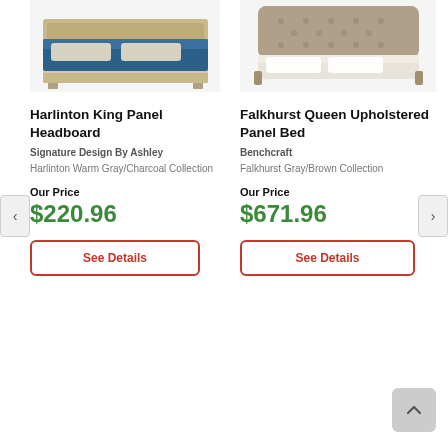[Figure (photo): Harlinton King Panel Headboard bed with blue/navy duvet and beige upholstered headboard, partial top view]
[Figure (photo): Falkhurst Queen Upholstered Panel Bed with tufted gray/brown upholstered headboard, partial top view]
Harlinton King Panel Headboard
Signature Design By Ashley
Harlinton Warm Gray/Charcoal Collection
Our Price
$220.96
See Details
Falkhurst Queen Upholstered Panel Bed
Benchcraft
Falkhurst Gray/Brown Collection
Our Price
$671.96
See Details